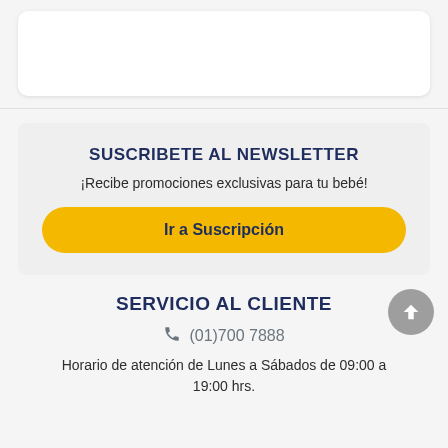[Figure (other): White card element at top of page, partially visible]
SUSCRIBETE AL NEWSLETTER
¡Recibe promociones exclusivas para tu bebé!
Ir a Suscripción
SERVICIO AL CLIENTE
(01)700 7888
Horario de atención de Lunes a Sábados de 09:00 a 19:00 hrs.